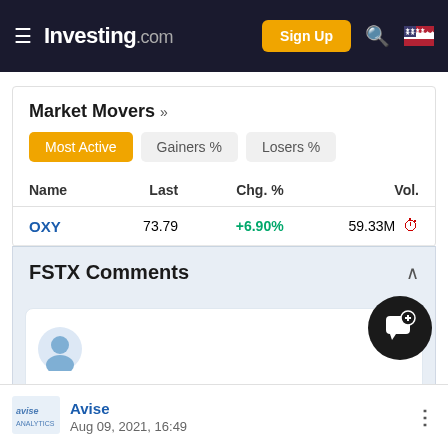Investing.com — Sign Up
Market Movers »
Most Active | Gainers % | Losers %
| Name | Last | Chg. % | Vol. |
| --- | --- | --- | --- |
| OXY | 73.79 | +6.90% | 59.33M |
FSTX Comments
[Figure (illustration): User avatar icon placeholder in comment input box]
[Figure (illustration): Floating chat/comment action button (dark circle with speech bubble icon)]
Avise
Aug 09, 2021, 16:49